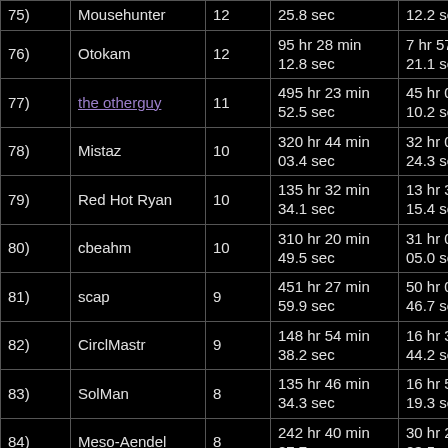| Rank | User | Count | Total Time | Avg Time |
| --- | --- | --- | --- | --- |
| 75) | Mousehunter | 12 | 25.8 sec | 12.2 sec |
| 76) | Otokam | 12 | 95 hr 28 min 12.8 sec | 7 hr 57 min 21.1 sec |
| 77) | the otherguy | 11 | 495 hr 23 min 52.5 sec | 45 hr 02 min 10.2 sec |
| 78) | Mistaz | 10 | 320 hr 44 min 03.4 sec | 32 hr 04 min 24.3 sec |
| 79) | Red Hot Ryan | 10 | 135 hr 32 min 34.1 sec | 13 hr 33 min 15.4 sec |
| 80) | cbeahm | 10 | 310 hr 20 min 49.5 sec | 31 hr 02 min 05.0 sec |
| 81) | scap | 9 | 451 hr 27 min 59.9 sec | 50 hr 09 min 46.7 sec |
| 82) | CirclMastr | 9 | 148 hr 54 min 38.2 sec | 16 hr 32 min 44.2 sec |
| 83) | SolMan | 8 | 135 hr 46 min 34.3 sec | 16 hr 58 min 19.3 sec |
| 84) | Meso-Aendel | 8 | 242 hr 40 min 27.7 sec | 30 hr 20 min 03.5 sec |
| 85) | ABordner | 7 | 99 hr 29 min 29.9 sec | 14 hr 12 min 47.1 sec |
| 86) |  |  | 150 hr 55 min ... | 47 hr 55 min ... |